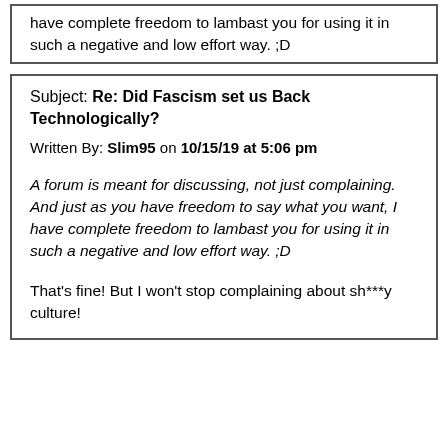have complete freedom to lambast you for using it in such a negative and low effort way. ;D
Subject: Re: Did Fascism set us Back Technologically?
Written By: Slim95 on 10/15/19 at 5:06 pm
A forum is meant for discussing, not just complaining. And just as you have freedom to say what you want, I have complete freedom to lambast you for using it in such a negative and low effort way. ;D
That's fine! But I won't stop complaining about sh***y culture!